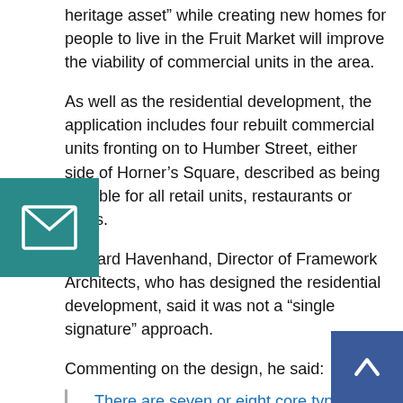heritage asset” while creating new homes for people to live in the Fruit Market will improve the viability of commercial units in the area.
As well as the residential development, the application includes four rebuilt commercial units fronting on to Humber Street, either side of Horner’s Square, described as being suitable for all retail units, restaurants or cafés.
Richard Havenhand, Director of Framework Architects, who has designed the residential development, said it was not a “single signature” approach.
Commenting on the design, he said:
There are seven or eight core types of properties in terms of their footprint, but there are subtle